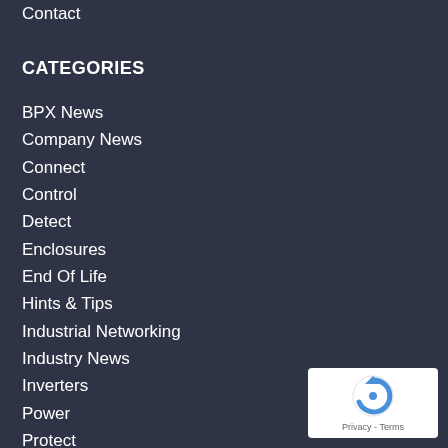Contact
CATEGORIES
BPX News
Company News
Connect
Control
Detect
Enclosures
End Of Life
Hints & Tips
Industrial Networking
Industry News
Inverters
Power
Protect
Robots
Server Modules
[Figure (logo): reCAPTCHA logo with circular arrow icon and Privacy - Terms text]